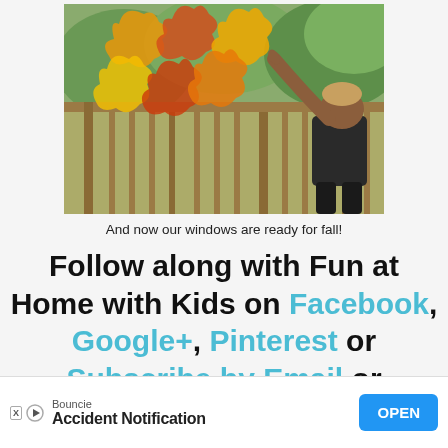[Figure (photo): A child pointing upward at colorful paper leaves (orange, red, yellow) hung on a deck railing with green trees in the background]
And now our windows are ready for fall!
Follow along with Fun at Home with Kids on Facebook, Google+, Pinterest or Subscribe by Email or Bloglovin'!
[Figure (infographic): Mobile advertisement banner for Bouncie - Accident Notification app with OPEN button]